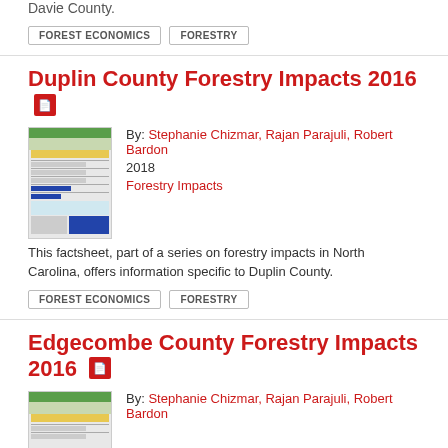Davie County.
FOREST ECONOMICS
FORESTRY
Duplin County Forestry Impacts 2016
By: Stephanie Chizmar, Rajan Parajuli, Robert Bardon
2018
Forestry Impacts
[Figure (other): Thumbnail image of Duplin County Forestry Impacts 2016 factsheet document]
This factsheet, part of a series on forestry impacts in North Carolina, offers information specific to Duplin County.
FOREST ECONOMICS
FORESTRY
Edgecombe County Forestry Impacts 2016
By: Stephanie Chizmar, Rajan Parajuli, Robert Bardon
[Figure (other): Thumbnail image of Edgecombe County Forestry Impacts 2016 factsheet document]